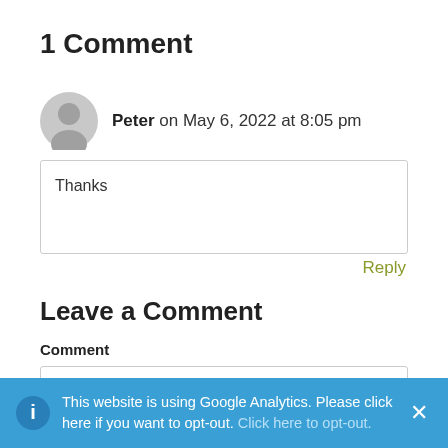1 Comment
Peter on May 6, 2022 at 8:05 pm
Thanks
Reply
Leave a Comment
Comment
This website is using Google Analytics. Please click here if you want to opt-out. Click here to opt-out.